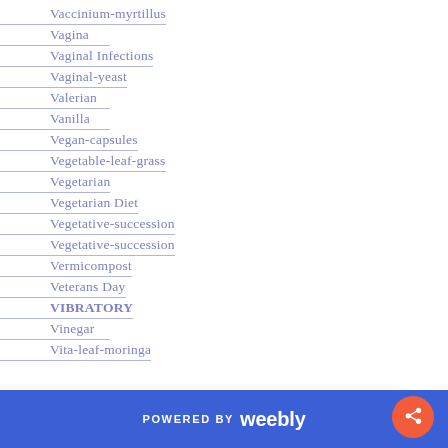Vaccinium-myrtillus
Vagina
Vaginal Infections
Vaginal-yeast
Valerian
Vanilla
Vegan-capsules
Vegetable-leaf-grass
Vegetarian
Vegetarian Diet
Vegetative-succession
Vegetative-succession
Vermicompost
Veterans Day
VIBRATORY
Vinegar
Vita-leaf-moringa
POWERED BY weebly